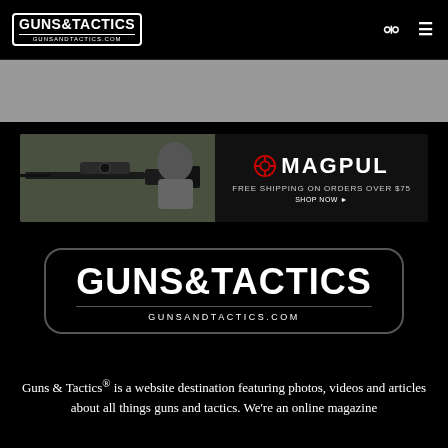GUNS&TACTICS GUNSANDTACTICS.COM
[Figure (photo): Magpul advertisement banner: man shooting rifle, Magpul logo, text FREE SHIPPING ON ORDERS OVER $75, SHOP NOW]
[Figure (logo): Guns & Tactics logo: GUNS&TACTICS in bold white text on black background with rounded rectangle border, GUNSANDTACTICS.COM subtitle]
Guns & Tactics® is a website destination featuring photos, videos and articles about all things guns and tactics. We're an online magazine